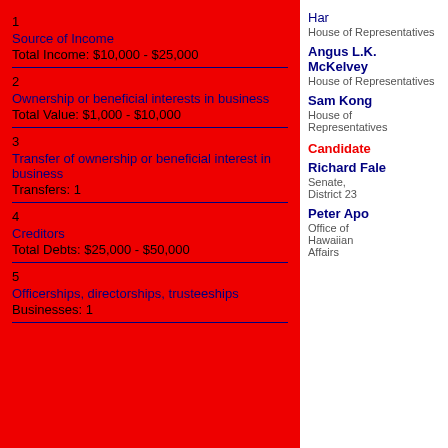1
Source of Income
Total Income: $10,000 - $25,000
2
Ownership or beneficial interests in business
Total Value: $1,000 - $10,000
3
Transfer of ownership or beneficial interest in business
Transfers: 1
4
Creditors
Total Debts: $25,000 - $50,000
5
Officerships, directorships, trusteeships
Businesses: 1
Har
House of Representatives
Angus L.K. McKelvey
House of Representatives
Sam Kong
House of Representatives
Candidate
Richard Fale
Senate, District 23
Peter Apo
Office of Hawaiian Affairs